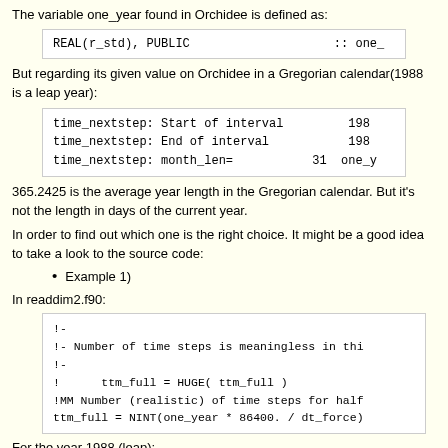The variable one_year found in Orchidee is defined as:
[Figure (screenshot): Code snippet: REAL(r_std), PUBLIC :: one_]
But regarding its given value on Orchidee in a Gregorian calendar(1988 is a leap year):
[Figure (screenshot): Code output: time_nextstep: Start of interval 198, time_nextstep: End of interval 198, time_nextstep: month_len= 31 one_y]
365.2425 is the average year length in the Gregorian calendar. But it's not the length in days of the current year.
In order to find out which one is the right choice. It might be a good idea to take a look to the source code:
Example 1)
In readdim2.f90:
[Figure (screenshot): Code snippet: !-
!- Number of time steps is meaningless in thi
!-
!     ttm_full = HUGE( ttm_full )
!MM Number (realistic) of time steps for half
ttm_full = NINT(one_year * 86400. / dt_force)]
For the year 1988 (leap):